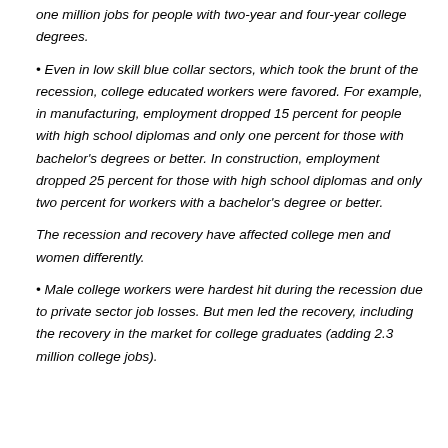one million jobs for people with two-year and four-year college degrees.
Even in low skill blue collar sectors, which took the brunt of the recession, college educated workers were favored. For example, in manufacturing, employment dropped 15 percent for people with high school diplomas and only one percent for those with bachelor's degrees or better. In construction, employment dropped 25 percent for those with high school diplomas and only two percent for workers with a bachelor's degree or better.
The recession and recovery have affected college men and women differently.
Male college workers were hardest hit during the recession due to private sector job losses. But men led the recovery, including the recovery in the market for college graduates (adding 2.3 million college jobs).